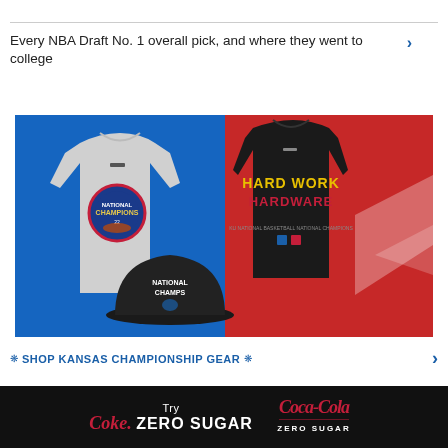Every NBA Draft No. 1 overall pick, and where they went to college
[Figure (photo): Adidas Kansas Jayhawks National Champions merchandise: gray t-shirt with National Champions logo, black hat with National Champs text and Jayhawk logo, and black t-shirt with 'Hard Work Hardware' text on blue and red background]
✳ SHOP KANSAS CHAMPIONSHIP GEAR ✳
[Figure (photo): Coca-Cola Zero Sugar advertisement banner with 'Try Coke Zero Sugar' text in red and white on black background, with Coca-Cola logo on right side]